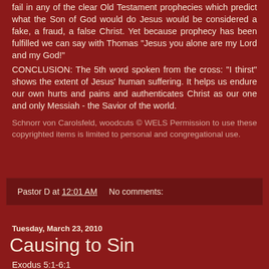fail in any of the clear Old Testament prophecies which predict what the Son of God would do Jesus would be considered a fake, a fraud, a false Christ. Yet because prophecy has been fulfilled we can say with Thomas "Jesus you alone are my Lord and my God!"
CONCLUSION: The 5th word spoken from the cross: "I thirst" shows the extent of Jesus' human suffering. It helps us endure our own hurts and pains and authenticates Christ as our one and only Messiah - the Savior of the world.
Schnorr von Carolsfeld, woodcuts © WELS Permission to use these copyrighted items is limited to personal and congregational use.
Pastor D at 12:01 AM    No comments:
Tuesday, March 23, 2010
Causing to Sin
Exodus 5:1-6:1
1 Corinthians 14:20-40